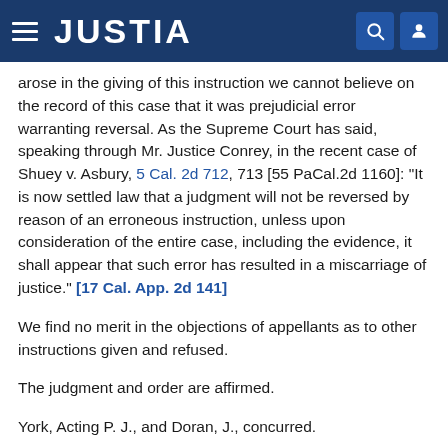JUSTIA
arose in the giving of this instruction we cannot believe on the record of this case that it was prejudicial error warranting reversal. As the Supreme Court has said, speaking through Mr. Justice Conrey, in the recent case of Shuey v. Asbury, 5 Cal. 2d 712, 713 [55 PaCal.2d 1160]: "It is now settled law that a judgment will not be reversed by reason of an erroneous instruction, unless upon consideration of the entire case, including the evidence, it shall appear that such error has resulted in a miscarriage of justice." [17 Cal. App. 2d 141]
We find no merit in the objections of appellants as to other instructions given and refused.
The judgment and order are affirmed.
York, Acting P. J., and Doran, J., concurred.